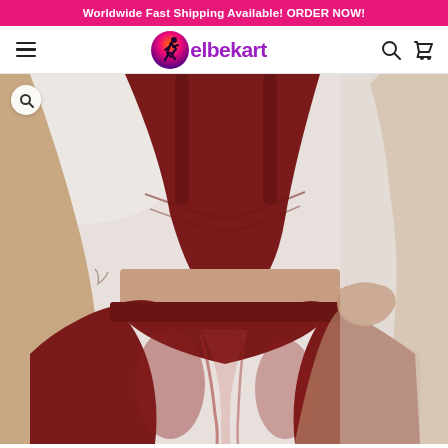Worldwide Fast Shipping Available! ORDER NOW!
[Figure (logo): Elbekart logo with runner icon inside gradient circle and purple/black text]
[Figure (photo): Woman wearing dark red/burgundy athletic two-piece set consisting of sports bra and high-waist leggings, posed with hands on hips showing midriff, product photo on light background]